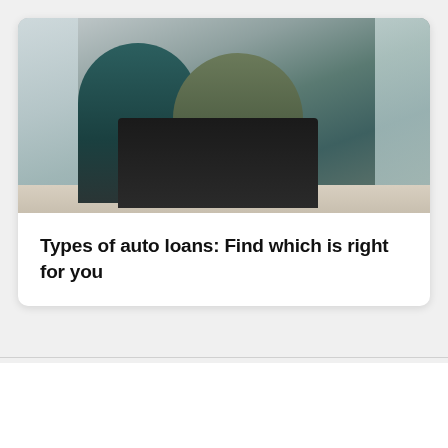[Figure (photo): Two people sitting at a table with a laptop, one holding a document, reviewing financial information together.]
Types of auto loans: Find which is right for you
Bankrate
About
Help